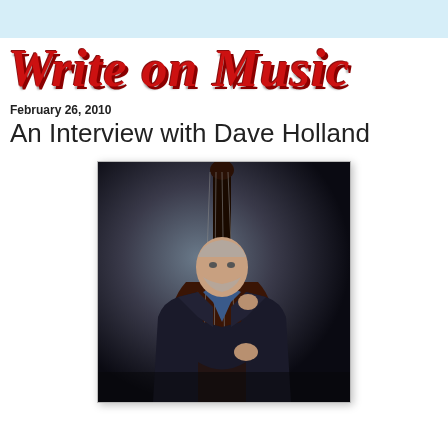Write on Music
February 26, 2010
An Interview with Dave Holland
[Figure (photo): Dave Holland standing with a double bass against a dark studio background, wearing a dark suit and blue shirt]